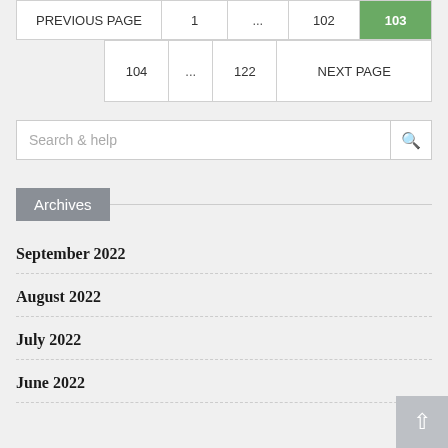PREVIOUS PAGE | 1 | ... | 102 | 103
104 | ... | 122 | NEXT PAGE
Search & help
Archives
September 2022
August 2022
July 2022
June 2022